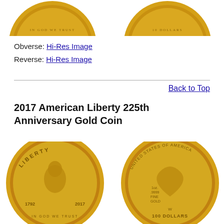[Figure (photo): Top portions of two gold coins visible at the top of the page — obverse showing 'IN GOD WE TRUST' text, reverse showing '10 DOLLARS' text]
Obverse: Hi-Res Image
Reverse: Hi-Res Image
Back to Top
2017 American Liberty 225th Anniversary Gold Coin
[Figure (photo): Two gold coins side by side: obverse showing Liberty with LIBERTY text, dates 1792 and 2017, IN GOD WE TRUST; reverse showing eagle with UNITED STATES OF AMERICA, E PLURIBUS UNUM, 1oz .9999 FINE GOLD, W, 100 DOLLARS]